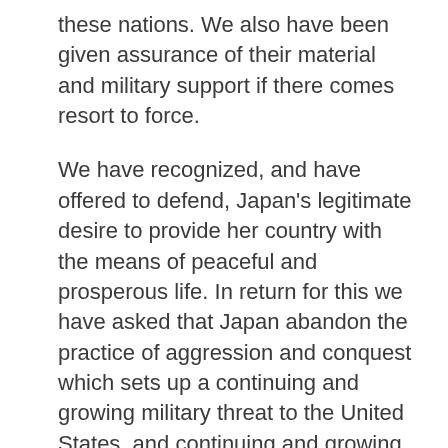these nations. We also have been given assurance of their material and military support if there comes resort to force.
We have recognized, and have offered to defend, Japan's legitimate desire to provide her country with the means of peaceful and prosperous life. In return for this we have asked that Japan abandon the practice of aggression and conquest which sets up a continuing and growing military threat to the United States, and continuing and growing disturbance of those world conditions which alone make possible the peaceful life of the United States. This Japan